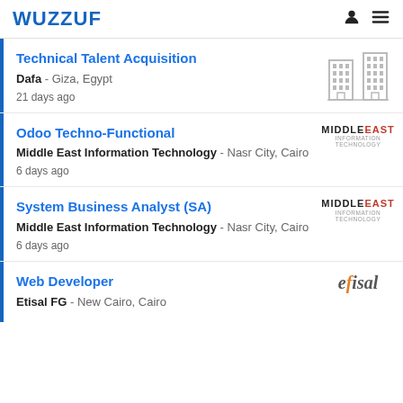WUZZUF
Technical Talent Acquisition
Dafa - Giza, Egypt
21 days ago
Odoo Techno-Functional
Middle East Information Technology - Nasr City, Cairo
6 days ago
System Business Analyst (SA)
Middle East Information Technology - Nasr City, Cairo
6 days ago
Web Developer
Etisal FG - New Cairo, Cairo